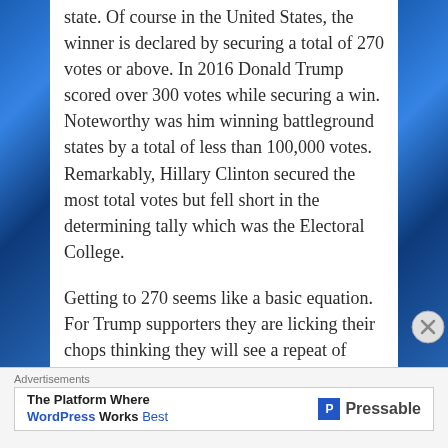state. Of course in the United States, the winner is declared by securing a total of 270 votes or above. In 2016 Donald Trump scored over 300 votes while securing a win. Noteworthy was him winning battleground states by a total of less than 100,000 votes. Remarkably, Hillary Clinton secured the most total votes but fell short in the determining tally which was the Electoral College.
Getting to 270 seems like a basic equation. For Trump supporters they are licking their chops thinking they will see a repeat of 2016, if not better. Some have been heard stating “we are in
Advertisements
The Platform Where WordPress Works Best | Pressable